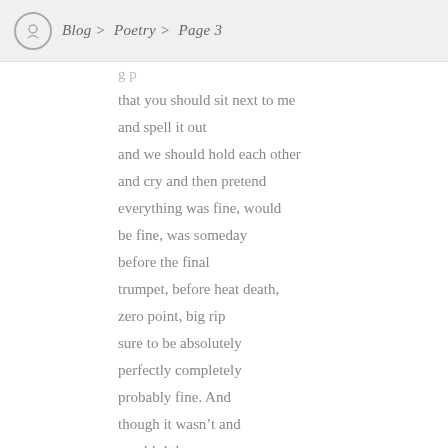Blog > Poetry > Page 3
that you should sit next to me
and spell it out
and we should hold each other
and cry and then pretend
everything was fine, would
be fine, was someday
before the final
trumpet, before heat death,
zero point, big rip
sure to be absolutely
perfectly completely
probably fine. And
though it wasn't and
wouldn't be,
I walked you to the G
then rode the C